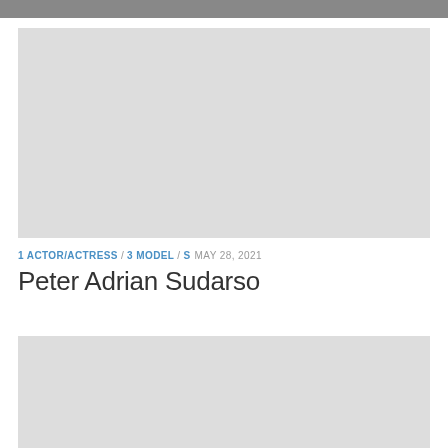[Figure (photo): Gray placeholder image at top of article]
1 ACTOR/ACTRESS / 3 MODEL / S  MAY 28, 2021
Peter Adrian Sudarso
[Figure (photo): Gray placeholder image at bottom of page]